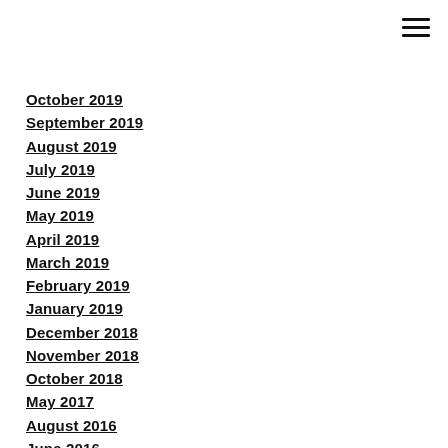October 2019
September 2019
August 2019
July 2019
June 2019
May 2019
April 2019
March 2019
February 2019
January 2019
December 2018
November 2018
October 2018
May 2017
August 2016
June 2016
May 2016